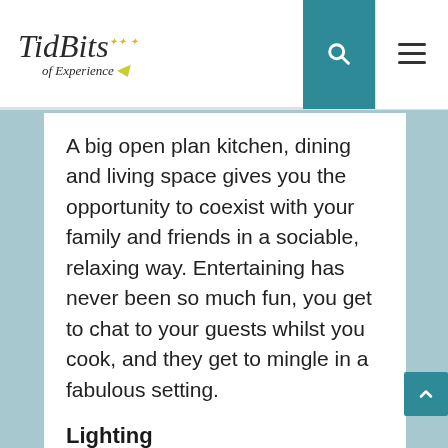TidBits of Experience
A big open plan kitchen, dining and living space gives you the opportunity to coexist with your family and friends in a sociable, relaxing way. Entertaining has never been so much fun, you get to chat to your guests whilst you cook, and they get to mingle in a fabulous setting.
Lighting
Natural light makes you feel good. It brings a sense of optimism into any room. Well, open floor plans allow for